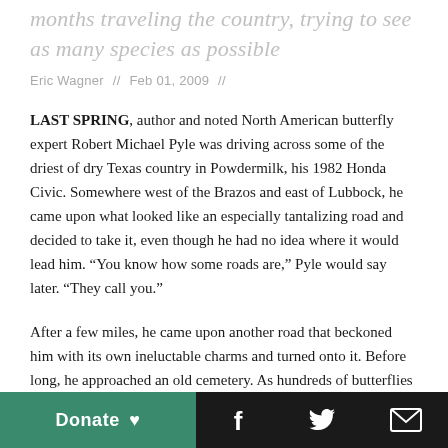months traveling the country, trying to see as many species as possible
Eric Wagner  //  Feb 01, 2009  //
LAST SPRING, author and noted North American butterfly expert Robert Michael Pyle was driving across some of the driest of dry Texas country in Powdermilk, his 1982 Honda Civic. Somewhere west of the Brazos and east of Lubbock, he came upon what looked like an especially tantalizing road and decided to take it, even though he had no idea where it would lead him. “You know how some roads are,” Pyle would say later. “They call you.”
After a few miles, he came upon another road that beckoned him with its own ineluctable charms and turned onto it. Before long, he approached an old cemetery. As hundreds of butterflies flitted around the gravestones, Pyle got out of Powdermilk and grabbed Marsha, the trusted butterfly net he has used for more than 30 years. By the time he left the
Donate ♥  [Facebook] [Twitter] [Email]